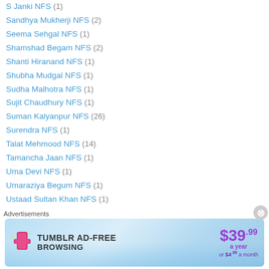S Janki NFS (1)
Sandhya Mukherji NFS (2)
Seema Sehgal NFS (1)
Shamshad Begam NFS (2)
Shanti Hiranand NFS (1)
Shubha Mudgal NFS (1)
Sudha Malhotra NFS (1)
Sujit Chaudhury NFS (1)
Suman Kalyanpur NFS (26)
Surendra NFS (1)
Talat Mehmood NFS (14)
Tamancha Jaan NFS (1)
Uma Devi NFS (1)
Umaraziya Begum NFS (1)
Ustaad Sultan Khan NFS (1)
Vidyanath Seth NFS (1)
Zohrabai Ambalewaali NFS (1)
Advertisements
[Figure (other): Tumblr AD-FREE BROWSING advertisement banner. $39.99 a year or $4.99 a month.]